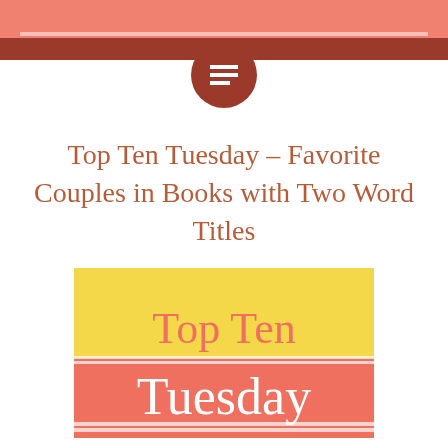[Figure (illustration): Blog header with salmon/coral horizontal stripe at top, a dark red circular icon with menu/text lines symbol in the center, and a smaller salmon stripe below]
Top Ten Tuesday – Favorite Couples in Books with Two Word Titles
[Figure (logo): Top Ten Tuesday logo: yellow rectangle with coral/salmon text 'Top Ten' and coral rectangle below with white text 'Tuesday', with thin white stripes at top and bottom of coral section]